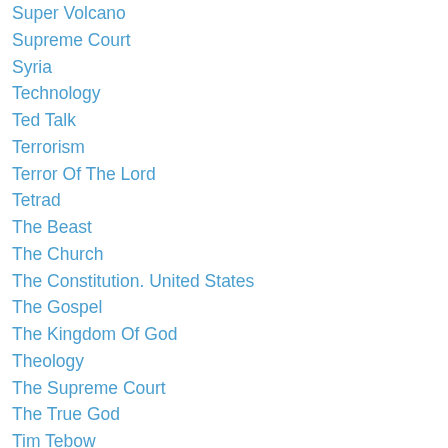Super Volcano
Supreme Court
Syria
Technology
Ted Talk
Terrorism
Terror Of The Lord
Tetrad
The Beast
The Church
The Constitution. United States
The Gospel
The Kingdom Of God
Theology
The Supreme Court
The True God
Tim Tebow
Titus 2
Totalitarianism
Transgender Issues
Truth